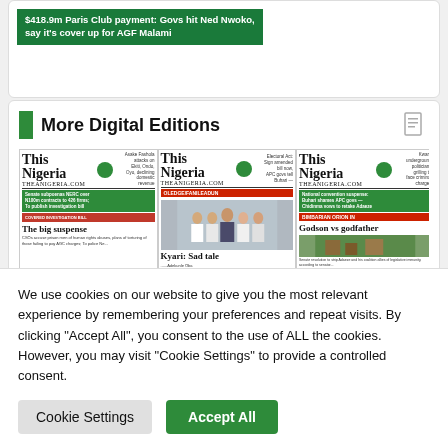[Figure (screenshot): Newspaper headline banner: '$418.9m Paris Club payment: Govs hit Ned Nwoko, say it's cover up for AGF Malami' on green background]
More Digital Editions
[Figure (screenshot): Three 'This Nigeria' newspaper front page thumbnails: 'The big suspense', 'Kyari: Sad tale', 'Godson vs godfather']
We use cookies on our website to give you the most relevant experience by remembering your preferences and repeat visits. By clicking “Accept All”, you consent to the use of ALL the cookies. However, you may visit "Cookie Settings" to provide a controlled consent.
Cookie Settings
Accept All